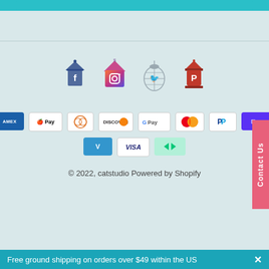[Figure (screenshot): Top teal/cyan bar - partial header element]
[Figure (infographic): Social media icons: Facebook, Instagram, Twitter, Pinterest styled with pagoda/birdcage themed artwork]
[Figure (infographic): Payment method badges: American Express, Apple Pay, Diners Club, Discover, Google Pay, Mastercard, PayPal, Shop Pay, Venmo, Visa, Afterpay]
© 2022, catstudio Powered by Shopify
Free ground shipping on orders over $49 within the US